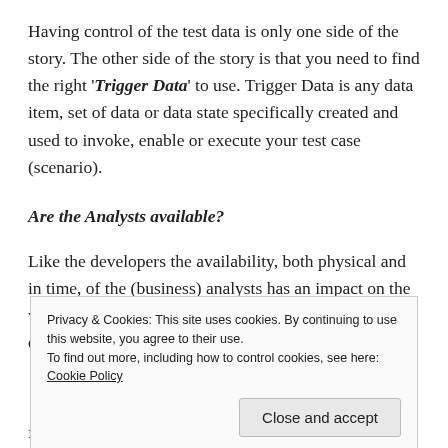Having control of the test data is only one side of the story. The other side of the story is that you need to find the right 'Trigger Data' to use. Trigger Data is any data item, set of data or data state specifically created and used to invoke, enable or execute your test case (scenario).
Are the Analysts available?
Like the developers the availability, both physical and in time, of the (business) analysts has an impact on the way you can interact with them. And like the developers
Privacy & Cookies: This site uses cookies. By continuing to use this website, you agree to their use.
To find out more, including how to control cookies, see here: Cookie Policy
functionality and its means of satisfying the